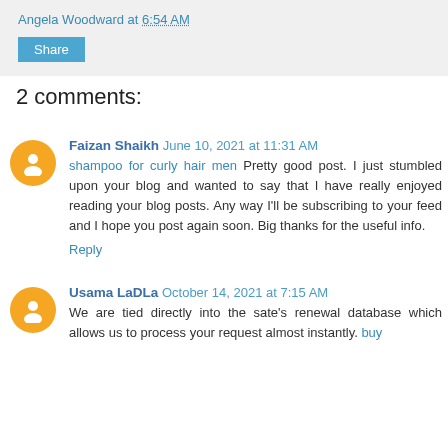Angela Woodward at 6:54 AM
Share
2 comments:
Faizan Shaikh  June 10, 2021 at 11:31 AM
shampoo for curly hair men  Pretty good post. I just stumbled upon your blog and wanted to say that I have really enjoyed reading your blog posts. Any way I'll be subscribing to your feed and I hope you post again soon. Big thanks for the useful info.
Reply
Usama LaDLa  October 14, 2021 at 7:15 AM
We are tied directly into the sate's renewal database which allows us to process your request almost instantly. buy